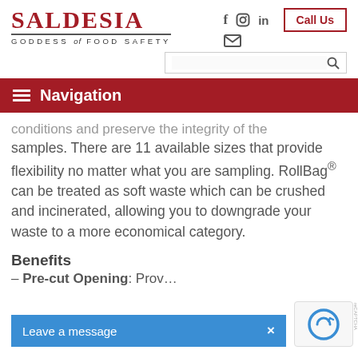SALDESIA GODDESS of FOOD SAFETY
[Figure (logo): Saldesia logo with text SALDESIA in large serif red font and subtitle GODDESS of FOOD SAFETY in small caps]
[Figure (infographic): Social media icons: Facebook, Instagram, LinkedIn, Email, and a Call Us button with red border]
Navigation
conditions and preserve the integrity of the samples. There are 11 available sizes that provide flexibility no matter what you are sampling. RollBag® can be treated as soft waste which can be crushed and incinerated, allowing you to downgrade your waste to a more economical category.
Benefits
– Pre-cut Opening: Prov…